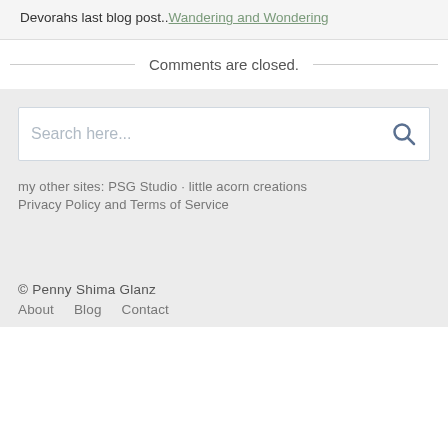Devorahs last blog post..Wandering and Wondering
Comments are closed.
[Figure (screenshot): Search input box with placeholder text 'Search here...' and a search icon button on the right]
my other sites: PSG Studio · little acorn creations
Privacy Policy and Terms of Service
© Penny Shima Glanz
About  Blog  Contact